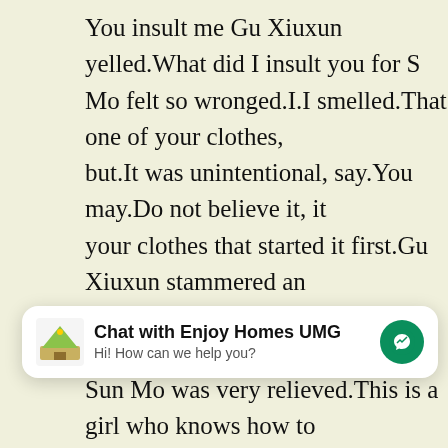You insult me Gu Xiuxun yelled.What did I insult you for S Mo felt so wronged.I.I smelled.That one of your clothes, but.It was unintentional, say.You may.Do not believe it, it your clothes that started it first.Gu Xiuxun stammered an wanted to die ashamed.Sun Mo quickly nodded.Then yo are still humiliating me Gu Xiuxun questioned, there were already tears in her eyes.After Enjoy Realty high blood su and blood clots all, as a girl, she is still a girl who is inspire to become a famous teacher, and her behavior today is destined to become her dark history.
No need to introduce, I will not dislike this subject Sun Mo had already figured it out.There are few people who learn planting, which means that a planter is a rare profession, ,0,
[Figure (other): Chat widget: 'Chat with Enjoy Homes UMG' with logo and messenger icon. Subtitle: 'Hi! How can we help you?']
Sun Mo was very relieved.This is a girl who knows how to